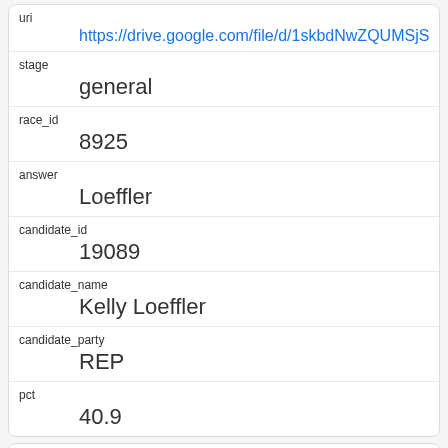| field | value |
| --- | --- |
| uri | https://drive.google.com/file/d/1skbdNwZQUMSjSUo |
| stage | general |
| race_id | 8925 |
| answer | Loeffler |
| candidate_id | 19089 |
| candidate_name | Kelly Loeffler |
| candidate_party | REP |
| pct | 40.9 |
| field | value |
| --- | --- |
| rowid | 21 |
| question_id | 140137 |